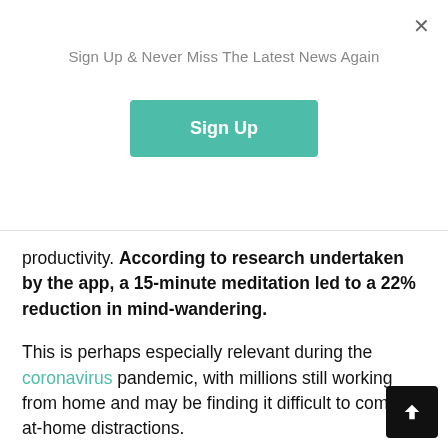Sign Up & Never Miss The Latest News Again
[Figure (other): Sign Up button (teal/green rounded rectangle)]
productivity. According to research undertaken by the app, a 15-minute meditation led to a 22% reduction in mind-wandering.
This is perhaps especially relevant during the coronavirus pandemic, with millions still working from home and may be finding it difficult to combat at-home distractions.
Headspace isn't the only digital platform to begin innovating new features catered towards users' health and wellness amid the pandemic.
Facebook-owned photo and video sharing platform Instagram, for instance, launched a new wellness-focused